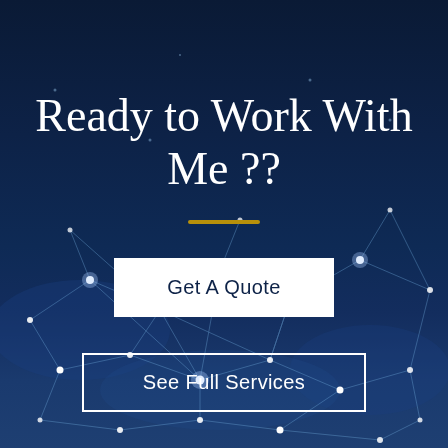[Figure (illustration): Dark navy blue background with a network of glowing white dots and connecting lines forming a geometric mesh pattern, concentrated in the lower half of the image, suggesting a digital technology theme.]
Ready to Work With Me ??
Get A Quote
See Full Services